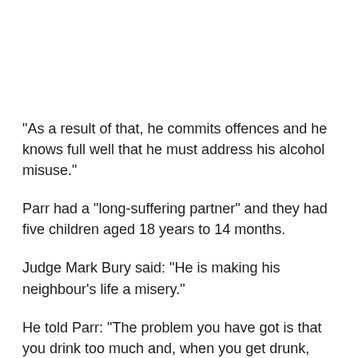"As a result of that, he commits offences and he knows full well that he must address his alcohol misuse."
Parr had a "long-suffering partner" and they had five children aged 18 years to 14 months.
Judge Mark Bury said: "He is making his neighbour's life a misery."
He told Parr: "The problem you have got is that you drink too much and, when you get drunk, you behave badly."